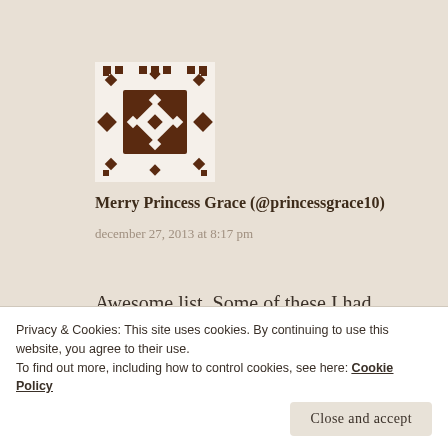[Figure (other): QR code / decorative avatar icon with brown geometric diamond pattern on white background]
Merry Princess Grace (@princessgrace10)
december 27, 2013 at 8:17 pm
Awesome list. Some of these I had forgotten about. They all look fabulous.

Grace
Privacy & Cookies: This site uses cookies. By continuing to use this website, you agree to their use.
To find out more, including how to control cookies, see here: Cookie Policy